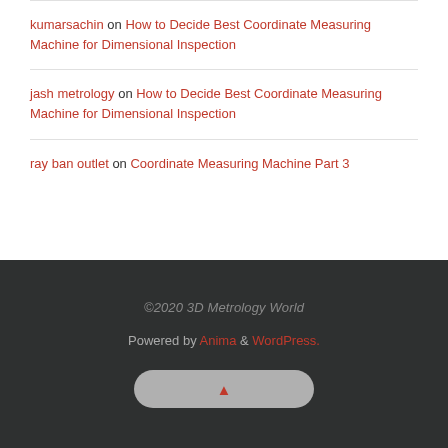kumarsachin on How to Decide Best Coordinate Measuring Machine for Dimensional Inspection
jash metrology on How to Decide Best Coordinate Measuring Machine for Dimensional Inspection
ray ban outlet on Coordinate Measuring Machine Part 3
©2020 3D Metrology World
Powered by Anima & WordPress.